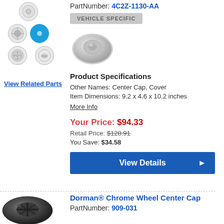[Figure (photo): Thumbnail images of wheel center caps, with one highlighted in blue]
View Related Parts
PartNumber: 4C2Z-1130-AA
VEHICLE SPECIFIC
[Figure (photo): Silver wheel center cap product photo]
Product Specifications
Other Names: Center Cap, Cover
Item Dimensions: 9.2 x 4.6 x 10.2 inches
More Info
Your Price: $94.33
Retail Price: $128.91
You Save: $34.58
View Details
Dorman® Chrome Wheel Center Cap
PartNumber: 909-031